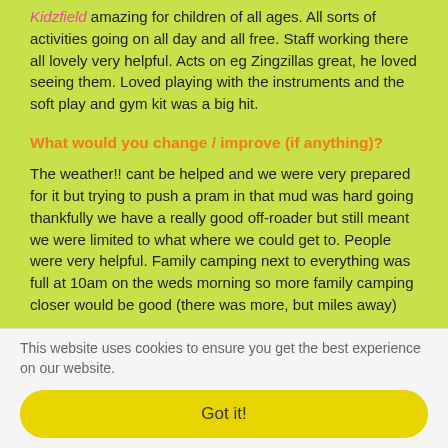Kidzfield amazing for children of all ages. All sorts of activities going on all day and all free. Staff working there all lovely very helpful. Acts on eg Zingzillas great, he loved seeing them. Loved playing with the instruments and the soft play and gym kit was a big hit.
What would you change / improve (if anything)?
The weather!! cant be helped and we were very prepared for it but trying to push a pram in that mud was hard going thankfully we have a really good off-roader but still meant we were limited to what where we could get to. People were very helpful. Family camping next to everything was full at 10am on the weds morning so more family camping closer would be good (there was more, but miles away)
Any other comments and your Top Tip:
Get a good buggy. Take snacks for tent i.e. small cereals, tins of soup, tins of hot dogs, there can be a lot of waiting around at tent especially if wet so take some books, crayons, etc. for tent
This website uses cookies to ensure you get the best experience on our website.
Got it!